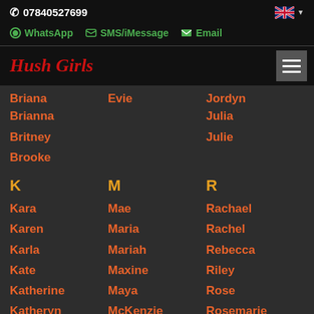07840527699
WhatsApp  SMS/iMessage  Email
Hush Girls
Briana
Evie
Jordyn
Brianna
Julia
Britney
Julie
Brooke
K
M
R
Kara
Mae
Rachael
Karen
Maria
Rachel
Karla
Mariah
Rebecca
Kate
Maxine
Riley
Katherine
Maya
Rose
Katheryn
McKenzie
Rosemarie